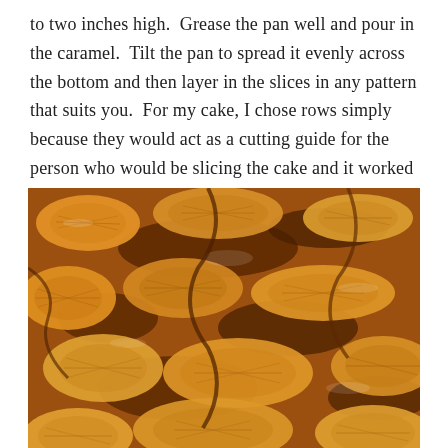to two inches high.  Grease the pan well and pour in the caramel.  Tilt the pan to spread it evenly across the bottom and then layer in the slices in any pattern that suits you.  For my cake, I chose rows simply because they would act as a cutting guide for the person who would be slicing the cake and it worked out beautifully.
[Figure (photo): Close-up photograph of caramelized pineapple slices coated in golden-brown caramel sauce, arranged in rows, showing glossy amber caramel between the pineapple segments.]